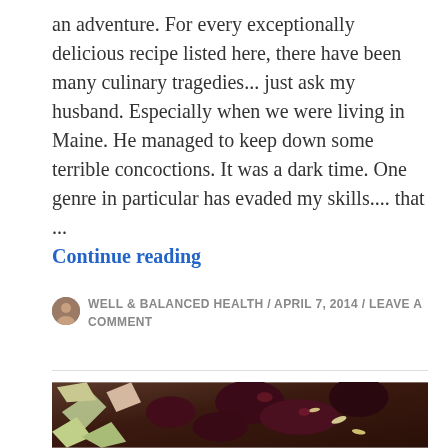an adventure.  For every exceptionally delicious recipe listed here, there have been many culinary tragedies... just ask my husband.  Especially when we were living in Maine.  He managed to keep down some terrible concoctions.  It was a dark time. One genre in particular has evaded my skills....  that ... Continue reading
WELL & BALANCED HEALTH / APRIL 7, 2014 / LEAVE A COMMENT
[Figure (photo): Close-up photo of chopped vegetables including rhubarb and dark roasted beets with seeds]